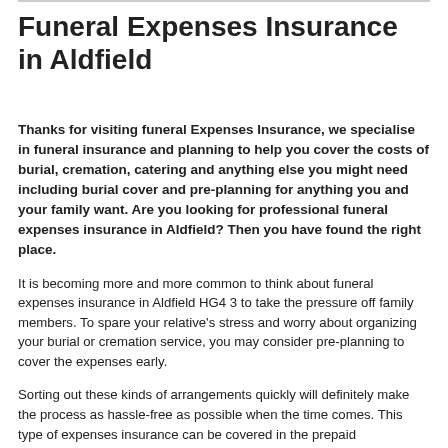Funeral Expenses Insurance in Aldfield
Thanks for visiting funeral Expenses Insurance, we specialise in funeral insurance and planning to help you cover the costs of burial, cremation, catering and anything else you might need including burial cover and pre-planning for anything you and your family want. Are you looking for professional funeral expenses insurance in Aldfield? Then you have found the right place.
It is becoming more and more common to think about funeral expenses insurance in Aldfield HG4 3 to take the pressure off family members. To spare your relative's stress and worry about organizing your burial or cremation service, you may consider pre-planning to cover the expenses early.
Sorting out these kinds of arrangements quickly will definitely make the process as hassle-free as possible when the time comes. This type of expenses insurance can be covered in the prepaid...